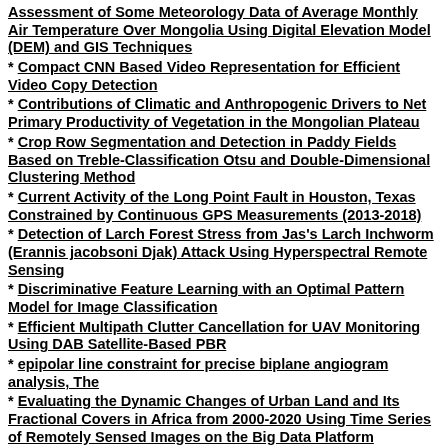Assessment of Some Meteorology Data of Average Monthly Air Temperature Over Mongolia Using Digital Elevation Model (DEM) and GIS Techniques
Compact CNN Based Video Representation for Efficient Video Copy Detection
Contributions of Climatic and Anthropogenic Drivers to Net Primary Productivity of Vegetation in the Mongolian Plateau
Crop Row Segmentation and Detection in Paddy Fields Based on Treble-Classification Otsu and Double-Dimensional Clustering Method
Current Activity of the Long Point Fault in Houston, Texas Constrained by Continuous GPS Measurements (2013-2018)
Detection of Larch Forest Stress from Jas's Larch Inchworm (Erannis jacobsoni Djak) Attack Using Hyperspectral Remote Sensing
Discriminative Feature Learning with an Optimal Pattern Model for Image Classification
Efficient Multipath Clutter Cancellation for UAV Monitoring Using DAB Satellite-Based PBR
epipolar line constraint for precise biplane angiogram analysis, The
Evaluating the Dynamic Changes of Urban Land and Its Fractional Covers in Africa from 2000-2020 Using Time Series of Remotely Sensed Images on the Big Data Platform
Fast Steganalysis Method for VoIP Streams